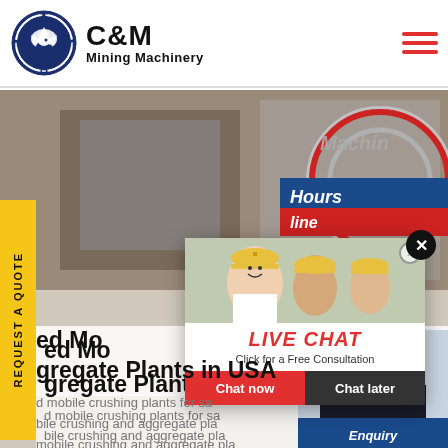[Figure (logo): C&M Mining Machinery logo with eagle in gear circle, dark navy blue]
[Figure (photo): Industrial mining machinery equipment in background; live chat popup overlay with workers in hard hats, and customer service agent on right side]
...ed Mo...
...gregate Plants in USA
...d mobile crushing plants for sa...
...bile crushing and aggregate pla...
...mobile crushing and aggregate pla...
...redirect from aggregate crushing c...
...machine designed to reduce large...